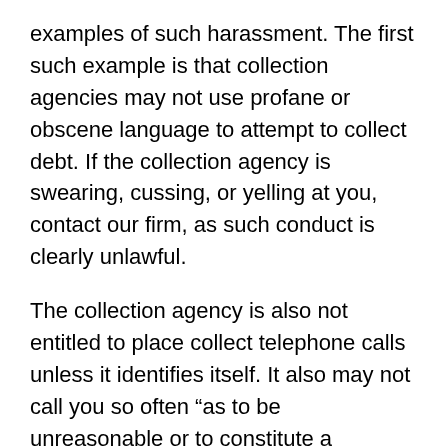examples of such harassment. The first such example is that collection agencies may not use profane or obscene language to attempt to collect debt. If the collection agency is swearing, cussing, or yelling at you, contact our firm, as such conduct is clearly unlawful.
The collection agency is also not entitled to place collect telephone calls unless it identifies itself. It also may not call you so often “as to be unreasonable or to constitute a harassment” or call you during your normal sleeping hours. Finally, assuming the collection agency has your home or cell phone number, it may not call you at your place of